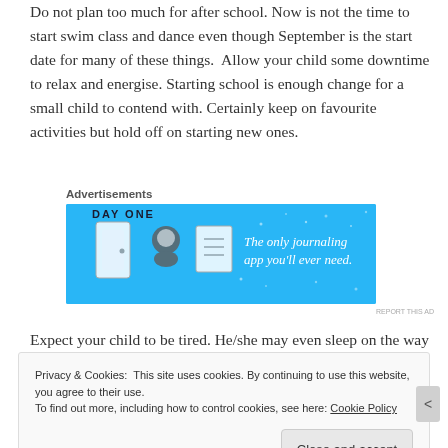Do not plan too much for after school. Now is not the time to start swim class and dance even though September is the start date for many of these things.  Allow your child some downtime to relax and energise. Starting school is enough change for a small child to contend with. Certainly keep on favourite activities but hold off on starting new ones.
Advertisements
[Figure (screenshot): Day One journaling app advertisement on blue background with icons and text: 'The only journaling app you'll ever need.']
Expect your child to be tired. He/she may even sleep on the way home in the car. It has been a big day! In fact,
Privacy & Cookies:  This site uses cookies. By continuing to use this website, you agree to their use.
To find out more, including how to control cookies, see here: Cookie Policy
Close and accept